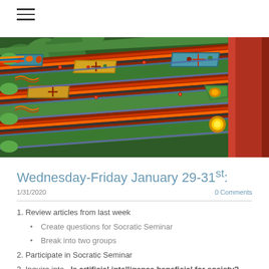☰ (navigation menu)
[Figure (photo): Close-up photograph of colorful Korean traditional temple architecture — green painted wooden beams with ornate orange, blue, red, and gold decorative patterns (dancheong), seen from below at an angle, with a red column visible on the right.]
Wednesday-Friday January 29-31st:
1/31/2020
0 Comments
1. Review articles from last week
Create questions for Socratic Seminar
Break into two groups
2. Participate in Socratic Seminar
3. Inquire into,  Is artificial intelligence beneficial for society?